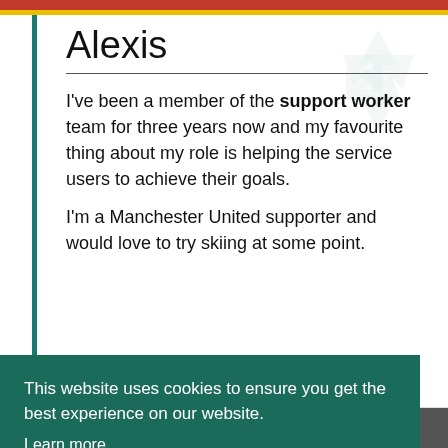Alexis
I've been a member of the support worker team for three years now and my favourite thing about my role is helping the service users to achieve their goals.
I'm a Manchester United supporter and would love to try skiing at some point.
This website uses cookies to ensure you get the best experience on our website.
Learn more
Got it!